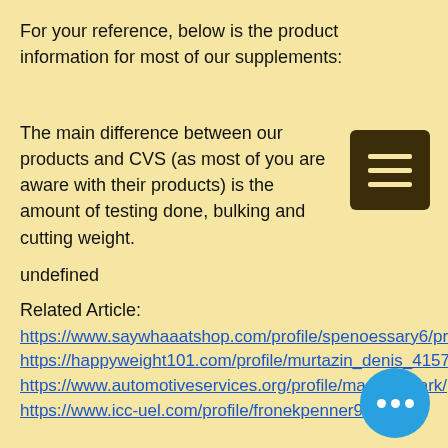For your reference, below is the product information for most of our supplements:
The main difference between our products and CVS (as most of you are aware with their products) is the amount of testing done, bulking and cutting weight.
undefined
Related Article:
https://www.saywhaaatshop.com/profile/spenoessary6/profile
https://happyweight101.com/profile/murtazin_denis_41577/profile
https://www.automotiveservices.org/profile/maederpeark/profile
https://www.icc-uel.com/profile/fronekpenner9/profile